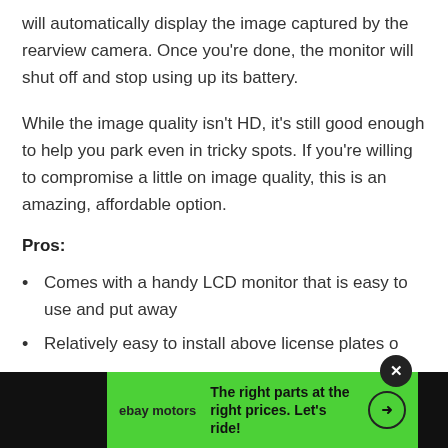will automatically display the image captured by the rearview camera. Once you're done, the monitor will shut off and stop using up its battery.
While the image quality isn't HD, it's still good enough to help you park even in tricky spots. If you're willing to compromise a little on image quality, this is an amazing, affordable option.
Pros:
Comes with a handy LCD monitor that is easy to use and put away
Relatively easy to install above license plates o…
[Figure (screenshot): eBay Motors advertisement banner in green with text 'The right parts at the right prices. Let's ride!' and an arrow button, with a close (x) button overlay.]